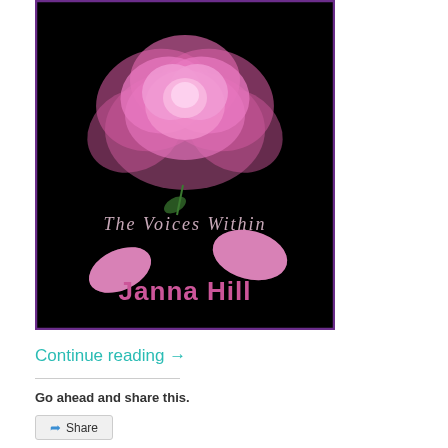[Figure (illustration): Book cover for 'The Voices Within' by Janna Hill. Black background with a large pink rose centered at top, cursive italic title text 'The Voices Within' in the middle, two pink rose petals in the lower portion, and the author name 'Janna Hill' in large pink bold text at the bottom. The cover has a purple border.]
Continue reading →
Go ahead and share this.
Share